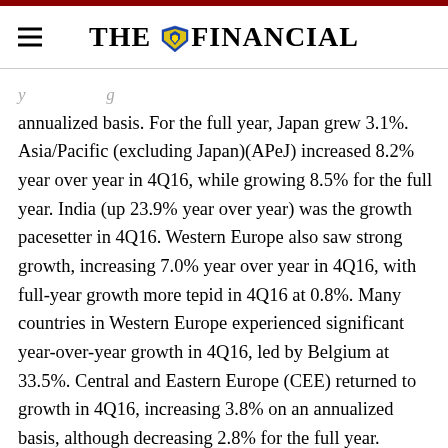THE FINANCIAL
annualized basis. For the full year, Japan grew 3.1%. Asia/Pacific (excluding Japan)(APeJ) increased 8.2% year over year in 4Q16, while growing 8.5% for the full year. India (up 23.9% year over year) was the growth pacesetter in 4Q16. Western Europe also saw strong growth, increasing 7.0% year over year in 4Q16, with full-year growth more tepid in 4Q16 at 0.8%. Many countries in Western Europe experienced significant year-over-year growth in 4Q16, led by Belgium at 33.5%. Central and Eastern Europe (CEE) returned to growth in 4Q16, increasing 3.8% on an annualized basis, although decreasing 2.8% for the full year. Romania wa CEE's country leader in 4Q16, increasing 21.3% on